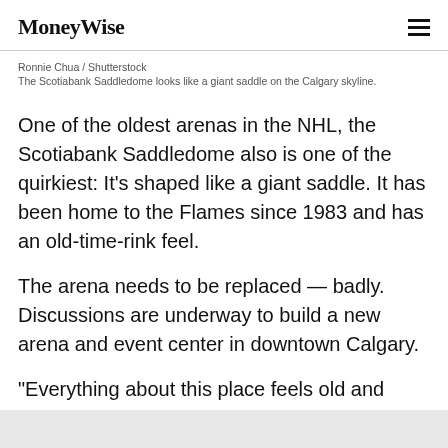MoneyWise
Ronnie Chua / Shutterstock
The Scotiabank Saddledome looks like a giant saddle on the Calgary skyline.
One of the oldest arenas in the NHL, the Scotiabank Saddledome also is one of the quirkiest: It's shaped like a giant saddle. It has been home to the Flames since 1983 and has an old-time-rink feel.
The arena needs to be replaced — badly. Discussions are underway to build a new arena and event center in downtown Calgary.
"Everything about this place feels old and shopworn,"